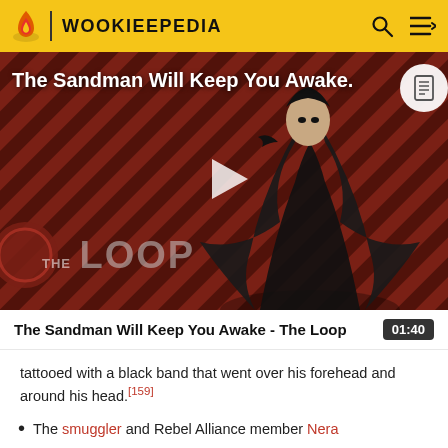WOOKIEEPEDIA
[Figure (screenshot): Video thumbnail for 'The Sandman Will Keep You Awake - The Loop' showing a figure in black with a raven, on a red diagonal striped background with 'THE LOOP' text overlay and a play button]
The Sandman Will Keep You Awake - The Loop  01:40
tattooed with a black band that went over his forehead and around his head.[159]
The smuggler and Rebel Alliance member Nera